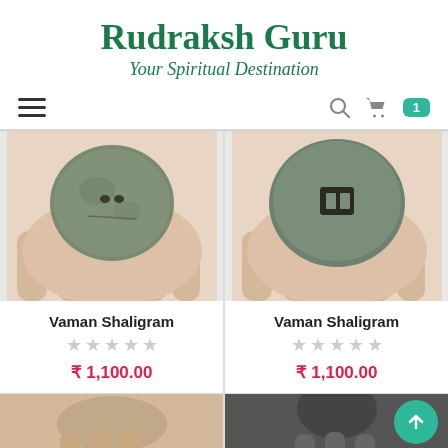Rudraksh Guru
Your Spiritual Destination
[Figure (screenshot): Navigation bar with hamburger menu on left and search, cart icons with badge showing 1 on right]
[Figure (photo): Two product listings side by side: left shows Vaman Shaligram stone (rough textured dark green stone in palm), right shows Vaman Shaligram stone (smooth dark green stone with rectangular marking in palm). Each with name, 5 empty stars, and price ₹1,100.00]
[Figure (photo): Bottom partial row showing two more product images cropped]